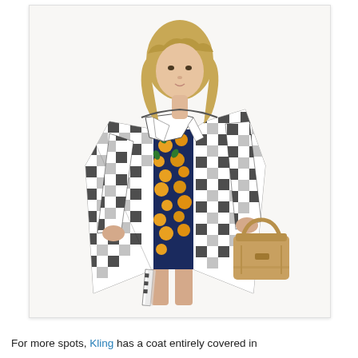[Figure (photo): A young blonde woman with bangs wearing an open black-and-white gingham check trench coat over a dark navy dress printed with yellow/orange fruits (oranges or lemons) with green leaves. She holds a tan/caramel structured handbag in her right hand. The background is plain white.]
For more spots, Kling has a coat entirely covered in